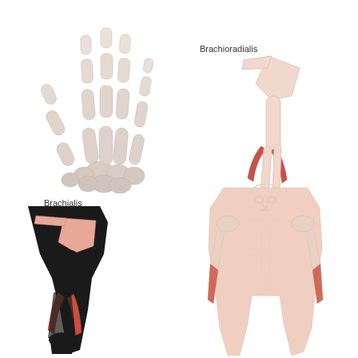[Figure (illustration): Skeletal illustration of a human hand showing bones from a dorsal view — phalanges, metacarpals, and carpal bones rendered in light beige/grey tones]
Brachioradialis
[Figure (illustration): Anatomical illustration of the right arm showing the brachioradialis muscle highlighted in red/pink against a light bone structure including the shoulder blade, humerus, radius, ulna, and hand bones]
Brachialis
[Figure (illustration): Anatomical illustration of the left arm showing the brachialis muscle highlighted in red/salmon against a black silhouette background, showing shoulder, upper arm, and forearm with wrist]
[Figure (illustration): Anatomical illustration of a human torso skeleton from the front, showing skull, ribcage, spine, and both arms with muscles highlighted in red at the forearms, set against a peach/salmon body silhouette]